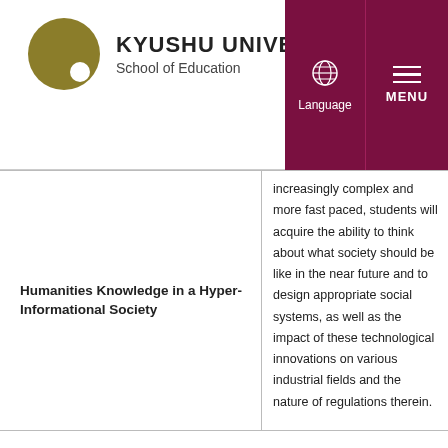KYUSHU UNIVERSITY School of Education
Humanities Knowledge in a Hyper-Informational Society
increasingly complex and more fast paced, students will acquire the ability to think about what society should be like in the near future and to design appropriate social systems, as well as the impact of these technological innovations on various industrial fields and the nature of regulations therein.